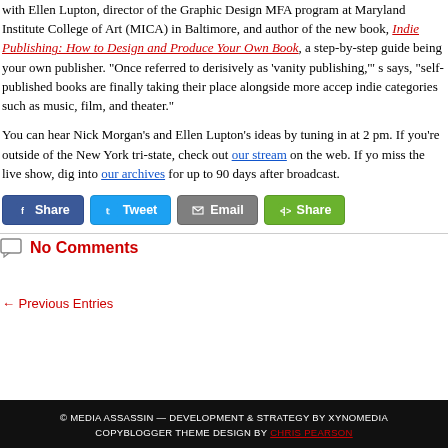with Ellen Lupton, director of the Graphic Design MFA program at Maryland Institute College of Art (MICA) in Baltimore, and author of the new book, Indie Publishing: How to Design and Produce Your Own Book, a step-by-step guide being your own publisher. "Once referred to derisively as 'vanity publishing,'" s says, "self-published books are finally taking their place alongside more accep indie categories such as music, film, and theater."
You can hear Nick Morgan's and Ellen Lupton's ideas by tuning in at 2 pm. If you're outside of the New York tri-state, check out our stream on the web. If yo miss the live show, dig into our archives for up to 90 days after broadcast.
[Figure (infographic): Social share buttons: Facebook Share, Twitter Tweet, Email, and a generic Share button]
No Comments
← Previous Entries
© MEDIA ASSASSIN — DEVELOPMENT & STRATEGY BY XYNOMEDIA COPYBLOGGER THEME DESIGN BY CHRIS PEARSON